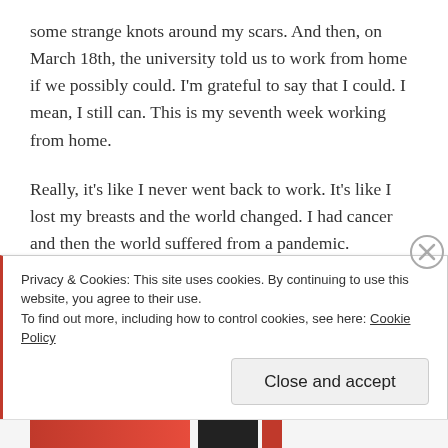some strange knots around my scars. And then, on March 18th, the university told us to work from home if we possibly could. I'm grateful to say that I could. I mean, I still can. This is my seventh week working from home.
Really, it's like I never went back to work. It's like I lost my breasts and the world changed. I had cancer and then the world suffered from a pandemic.
You've probably forgotten about the cancer. I forget most of the time, too.
Privacy & Cookies: This site uses cookies. By continuing to use this website, you agree to their use.
To find out more, including how to control cookies, see here: Cookie Policy